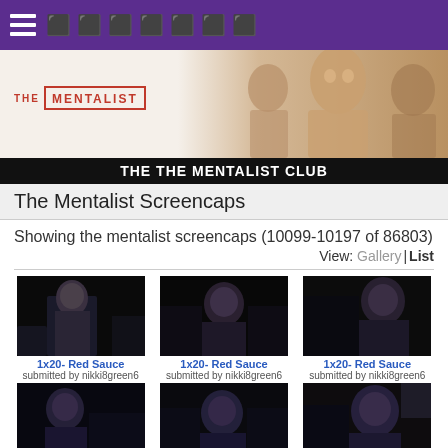≡ ⬛⬛⬛⬛⬛⬛⬛
[Figure (screenshot): The Mentalist TV show banner with logo and actor silhouettes on beige/tan background]
THE THE MENTALIST CLUB
The Mentalist Screencaps
Showing the mentalist screencaps (10099-10197 of 86803)
View: Gallery | List
[Figure (photo): Screencap thumbnail 1: 1x20- Red Sauce, dark TV scene with woman in black]
1x20- Red Sauce
submitted by nikki8green6
[Figure (photo): Screencap thumbnail 2: 1x20- Red Sauce, dark TV scene with woman]
1x20- Red Sauce
submitted by nikki8green6
[Figure (photo): Screencap thumbnail 3: 1x20- Red Sauce, dark TV scene with woman in black jacket]
1x20- Red Sauce
submitted by nikki8green6
[Figure (photo): Screencap thumbnail 4: 1x20- Red Sauce, dark TV scene woman profile]
1x20- Red Sauce
submitted by nikki8green6
[Figure (photo): Screencap thumbnail 5: 1x20- Red Sauce, dark TV scene woman looking left]
1x20- Red Sauce
submitted by nikki8green6
[Figure (photo): Screencap thumbnail 6: 1x20- Red Sauce, dark TV scene woman close-up]
1x20- Red Sauce
submitted by nikki8green6
[Figure (photo): Screencap thumbnail 7 (partial): 1x20- Red Sauce bottom row partial]
[Figure (photo): Screencap thumbnail 8 (partial): 1x20- Red Sauce bottom row partial]
[Figure (photo): Screencap thumbnail 9 (partial): 1x20- Red Sauce bottom row partial]